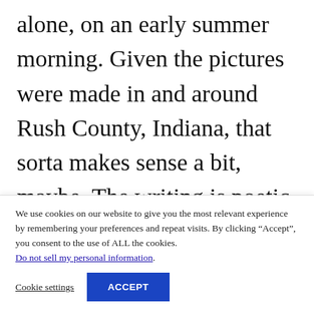alone, on an early summer morning. Given the pictures were made in and around Rush County, Indiana, that sorta makes sense a bit, maybe. The writing is poetic and lyrical, and, as Norris Webb puts it, told at a slant. If you're familiar to Norris Webb, you've probably read or seen her talk about her
We use cookies on our website to give you the most relevant experience by remembering your preferences and repeat visits. By clicking “Accept”, you consent to the use of ALL the cookies. Do not sell my personal information.
Cookie settings
ACCEPT